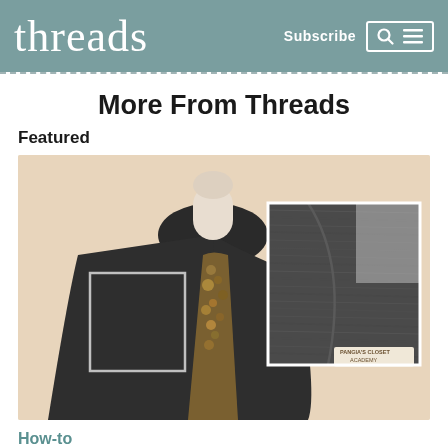threads — Subscribe [search icon] [menu icon]
More From Threads
Featured
[Figure (photo): A mannequin wearing a dark charcoal open cardigan over a floral/embellished top. A square box highlights the shoulder/upper arm area of the cardigan. An inset close-up photo shows the dark gray textured fabric of the cardigan shoulder area, with a small label tag visible at the bottom right of the inset reading 'PANGIA'S CLOSET ACADEMY'.]
How-to